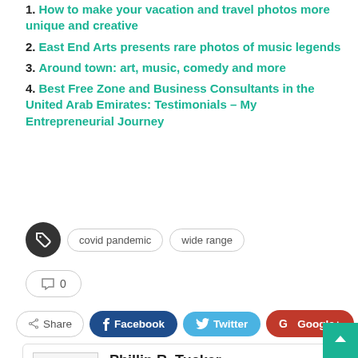1. How to make your vacation and travel photos more unique and creative
2. East End Arts presents rare photos of music legends
3. Around town: art, music, comedy and more
4. Best Free Zone and Business Consultants in the United Arab Emirates: Testimonials – My Entrepreneurial Journey
covid pandemic   wide range
0
Share   Facebook   Twitter   Google+   +
Phillip R. Tucker